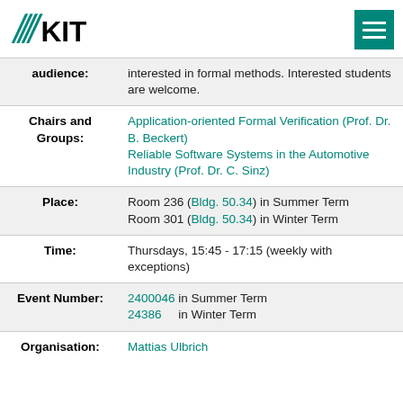KIT logo and menu icon
| Field | Value |
| --- | --- |
| audience: | interested in formal methods. Interested students are welcome. |
| Chairs and Groups: | Application-oriented Formal Verification (Prof. Dr. B. Beckert) Reliable Software Systems in the Automotive Industry (Prof. Dr. C. Sinz) |
| Place: | Room 236 (Bldg. 50.34) in Summer Term
Room 301 (Bldg. 50.34) in Winter Term |
| Time: | Thursdays, 15:45 - 17:15 (weekly with exceptions) |
| Event Number: | 2400046 in Summer Term
24386 in Winter Term |
| Organisation: | Mattias Ulbrich |